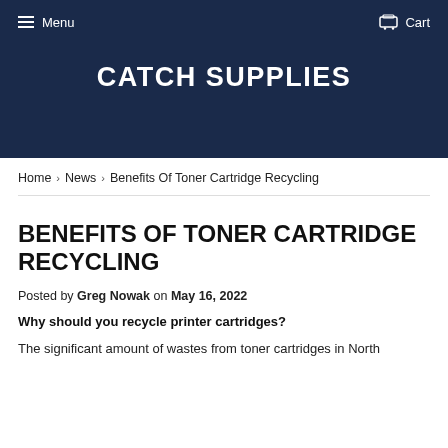Menu   Cart
CATCH SUPPLIES
Home › News › Benefits Of Toner Cartridge Recycling
BENEFITS OF TONER CARTRIDGE RECYCLING
Posted by Greg Nowak on May 16, 2022
Why should you recycle printer cartridges?
The significant amount of wastes from toner cartridges in North